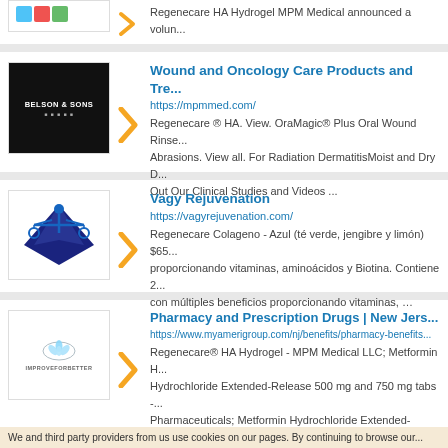Regenecare HA Hydrogel MPM Medical announced a volun...
Wound and Oncology Care Products and Tre...
https://mpmmed.com/
Regenecare ® HA. View. OraMagic® Plus Oral Wound Rinse... Abrasions. View all. For Radiation DermatitisMoist and Dry D... Out Our Clinical Studies and Videos ...
Vagy Rejuvenation
https://vagyrejuvenation.com/
Regenecare Colageno - Azul (té verde, jengibre y limón) $65... proporcionando vitaminas, aminoácidos y Biotina. Contiene 2... con múltiples beneficios proporcionando vitaminas, …
Pharmacy and Prescription Drugs | New Jers...
https://www.myamerigroup.com/nj/benefits/pharmacy-benefits...
Regenecare® HA Hydrogel - MPM Medical LLC; Metformin H... Hydrochloride Extended-Release 500 mg and 750 mg tabs -... Pharmaceuticals; Metformin Hydrochloride Extended-Release...
We and third party providers from us use cookies on our pages. By continuing to browse our...